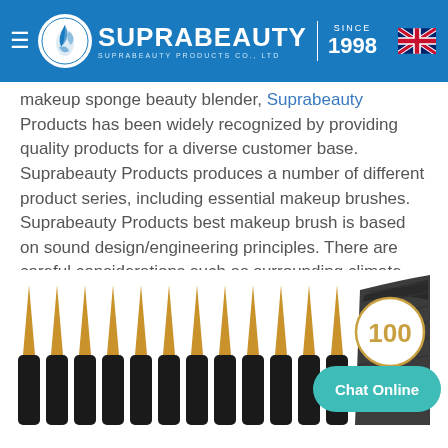SUPRABEAUTY | SINCE 1998 | SUPRABEAUTY PRODUCTS CO., LTD
makeup sponge beauty blender, Suprabeauty Products has been widely recognized by providing quality products for a diverse customer base. Suprabeauty Products produces a number of different product series, including essential makeup brushes. Suprabeauty Products best makeup brush is based on sound design/engineering principles. There are careful considerations such as surrounding climate, maintenance program, and control systems. The cleaning of the product is hassle free. The product is ideal for enhancing comfort while providing extra cushioning to the feet. It is the integration of comfort and support. It is lead free, PCP free, and cadmium free.
[Figure (photo): Photo of multiple black-handled makeup brushes with golden bristle tips arranged in a row, with a teal 'Chat Online' button overlay and a '100' badge circle in gold.]